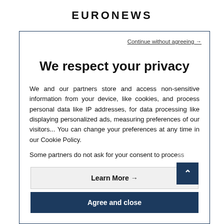EURONEWS
Continue without agreeing →
We respect your privacy
We and our partners store and access non-sensitive information from your device, like cookies, and process personal data like IP addresses, for data processing like displaying personalized ads, measuring preferences of our visitors... You can change your preferences at any time in our Cookie Policy.

Some partners do not ask for your consent to process
Learn More →
Agree and close